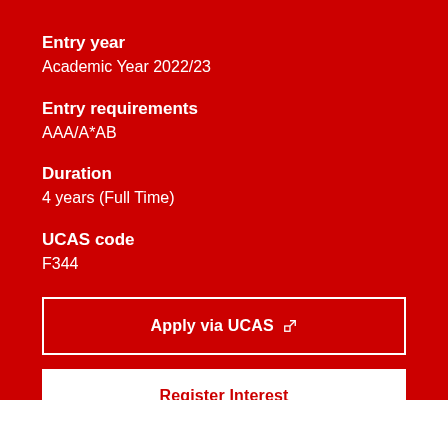Entry year
Academic Year 2022/23
Entry requirements
AAA/A*AB
Duration
4 years (Full Time)
UCAS code
F344
Apply via UCAS
Register Interest